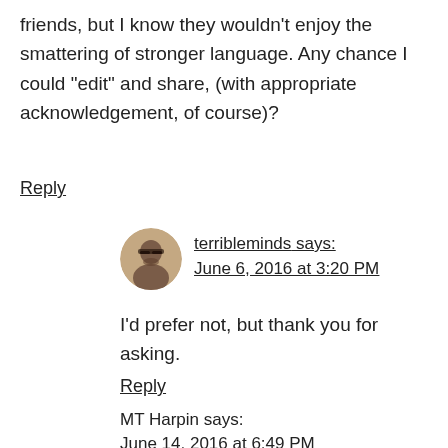friends, but I know they wouldn't enjoy the smattering of stronger language. Any chance I could “edit” and share, (with appropriate acknowledgement, of course)?
Reply
terribleminds says:
June 6, 2016 at 3:20 PM
[Figure (photo): Circular avatar photo of a person with glasses and beard]
I’d prefer not, but thank you for asking.
Reply
MT Harpin says:
June 14, 2016 at 6:49 PM